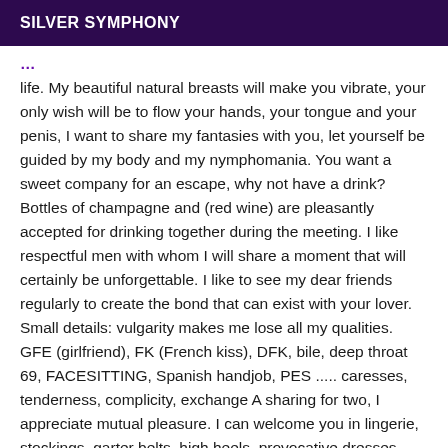SILVER SYMPHONY
life. My beautiful natural breasts will make you vibrate, your only wish will be to flow your hands, your tongue and your penis, I want to share my fantasies with you, let yourself be guided by my body and my nymphomania. You want a sweet company for an escape, why not have a drink? Bottles of champagne and (red wine) are pleasantly accepted for drinking together during the meeting. I like respectful men with whom I will share a moment that will certainly be unforgettable. I like to see my dear friends regularly to create the bond that can exist with your lover. Small details: vulgarity makes me lose all my qualities. GFE (girlfriend), FK (French kiss), DFK, bile, deep throat 69, FACESITTING, Spanish handjob, PES ..... caresses, tenderness, complicity, exchange A sharing for two, I appreciate mutual pleasure. I can welcome you in lingerie, stockings, garter belts, high heels, provocative dresses. Call me my loves